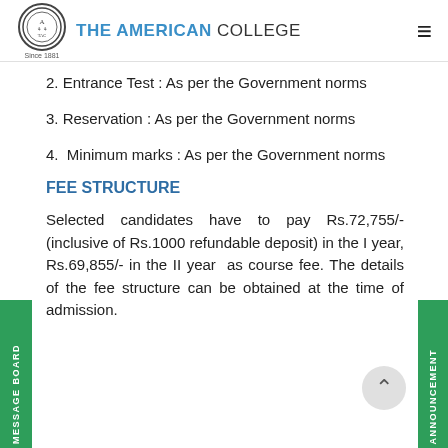THE AMERICAN COLLEGE
2. Entrance Test : As per the Government norms
3. Reservation : As per the Government norms
4. Minimum marks : As per the Government norms
FEE STRUCTURE
Selected candidates have to pay Rs.72,755/- (inclusive of Rs.1000 refundable deposit) in the I year, Rs.69,855/- in the II year as course fee. The details of the fee structure can be obtained at the time of admission.